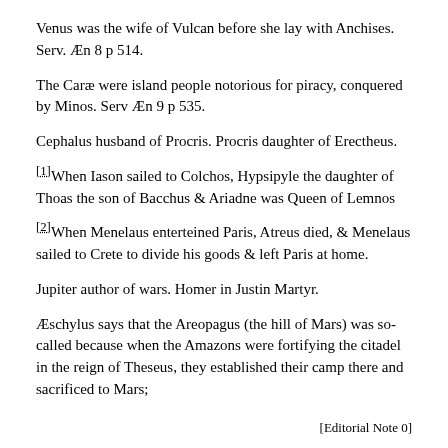Venus was the wife of Vulcan before she lay with Anchises. Serv. Æn 8 p 514.
The Caræ were island people notorious for piracy, conquered by Minos. Serv Æn 9 p 535.
Cephalus husband of Procris. Procris daughter of Erectheus.
[1] When Iason sailed to Colchos, Hypsipyle the daughter of Thoas the son of Bacchus & Ariadne was Queen of Lemnos
[2] When Menelaus enterteined Paris, Atreus died, & Menelaus sailed to Crete to divide his goods & left Paris at home.
Jupiter author of wars. Homer in Justin Martyr.
Æschylus says that the Areopagus (the hill of Mars) was so-called because when the Amazons were fortifying the citadel in the reign of Theseus, they established their camp there and sacrificed to Mars;
[Editorial Note 0]